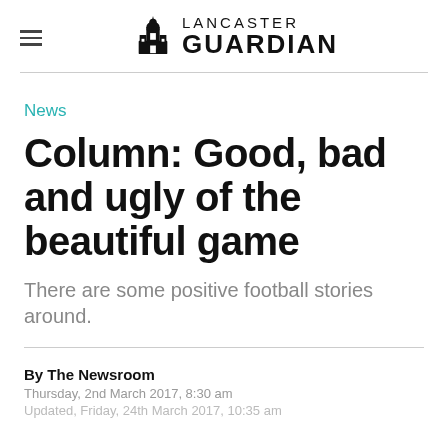LANCASTER GUARDIAN
News
Column: Good, bad and ugly of the beautiful game
There are some positive football stories around.
By The Newsroom
Thursday, 2nd March 2017, 8:30 am
Updated, Friday, 24th March 2017, 10:35 am